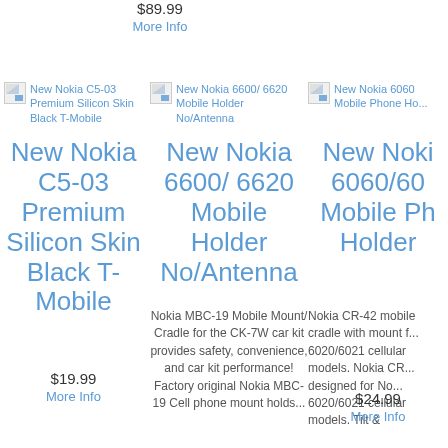$89.99
More Info
[Figure (other): Thumbnail image of New Nokia C5-03 Premium Silicon Skin Black T-Mobile]
New Nokia C5-03 Premium Silicon Skin Black T-Mobile
[Figure (other): Thumbnail image of New Nokia 6600/6620 Mobile Holder No/Antenna]
New Nokia 6600/ 6620 Mobile Holder No/Antenna
[Figure (other): Thumbnail image of New Nokia 6060 Mobile Phone Holder]
New Nokia 6060 Mobile Phone Ho...
New Nokia C5-03 Premium Silicon Skin Black T-Mobile
New Nokia 6600/ 6620 Mobile Holder No/Antenna
New Nokia 6060/60 Mobile Ph... Holder...
Nokia MBC-19 Mobile Mount/ Cradle for the CK-7W car kit provides safety, convenience, and car kit performance! Factory original Nokia MBC-19 Cell phone mount holds...
Nokia CR-42 mobile cradle with mount f... 6020/6021 cellular models. Nokia CR... designed for No... 6020/6021 cellular models. Tilt &...
$19.99
More Info
$24.99
More Info